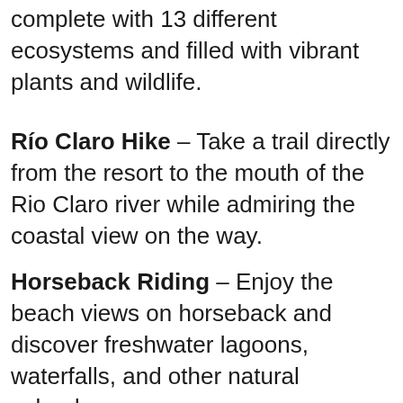complete with 13 different ecosystems and filled with vibrant plants and wildlife.
Río Claro Hike – Take a trail directly from the resort to the mouth of the Rio Claro river while admiring the coastal view on the way.
Horseback Riding – Enjoy the beach views on horseback and discover freshwater lagoons, waterfalls, and other natural splendors.
Book Now ▶
indigenous birds, you can explore the resort grounds and discover all types of beautiful birds such as the Orange-Chinned Parakeet and